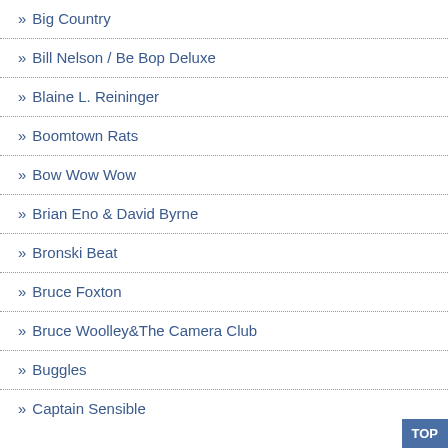» Big Country
» Bill Nelson / Be Bop Deluxe
» Blaine L. Reininger
» Boomtown Rats
» Bow Wow Wow
» Brian Eno & David Byrne
» Bronski Beat
» Bruce Foxton
» Bruce Woolley&The Camera Club
» Buggles
» Captain Sensible